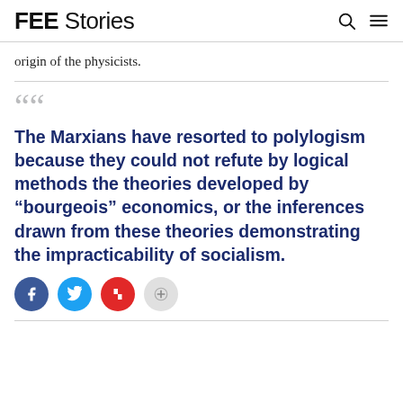FEE Stories
origin of the physicists.
The Marxians have resorted to polylogism because they could not refute by logical methods the theories developed by "bourgeois" economics, or the inferences drawn from these theories demonstrating the impracticability of socialism.